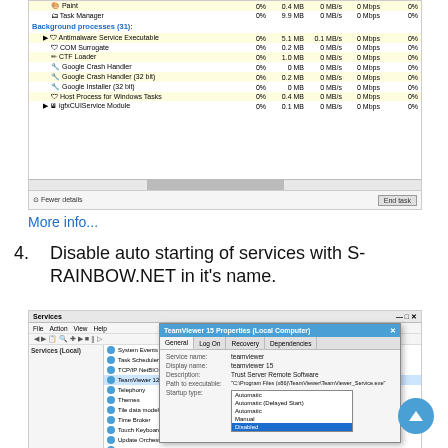[Figure (screenshot): Windows Task Manager showing Background processes (31) list with processes: Antimalware Service Executable (0%, 5.1 MB, 0.1 MB/s, 0 Mbps, 0%), COM Surrogate (0%, 0.2 MB, 0 MB/s, 0 Mbps, 0%), CTF Loader (0%, 1.0 MB, 0 MB/s, 0 Mbps, 0%), Google Crash Handler (0%, 0 MB, 0 MB/s, 0 Mbps, 0%), Google Crash Handler (32 bit) (0%, 0.2 MB, 0 MB/s, 0 Mbps, 0%), Google Installer (32 bit) (0%, 0 MB, 0 MB/s, 0 Mbps, 0%), Host Process for Windows Tasks (0%, 0.4 MB, 0 MB/s, 0 Mbps, 0%), igfxCUIService Module (0%, 0.1 MB, 0 MB/s, 0 Mbps, 0%). Also shows Paint (0%, 0.4 MB, 0 MB/s, 0 Mbps, 0%) and Task Manager (0%, 9.9 MB, 0 MB/s, 0 Mbps, 0%) at top.]
More info...
4.   Disable auto starting of services with S-RAINBOW.NET in it's name.
[Figure (screenshot): Windows Services window showing a list of services on the left with TeamViewer 12 selected, and a Properties dialog for TeamViewer 15 open on the right. The Properties dialog shows tabs: General, Log On, Recovery, Dependencies. Fields: Service name: teamviewer, Display name: teamviewer 15, Description: Trust Server Remote Software, Path to executable: C:\Program Files (x86)\TeamViewer\TeamViewer_Service.exe. Startup type dropdown showing options: Automatic, Automatic (Delayed Start), Automatic, Manual, Disabled (selected highlighted in blue).]